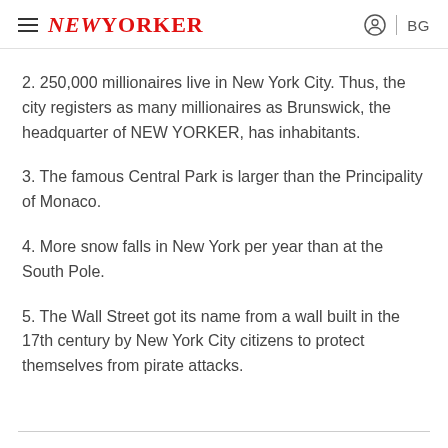≡ NEW YORKER | BG
2. 250,000 millionaires live in New York City. Thus, the city registers as many millionaires as Brunswick, the headquarter of NEW YORKER, has inhabitants.
3. The famous Central Park is larger than the Principality of Monaco.
4. More snow falls in New York per year than at the South Pole.
5. The Wall Street got its name from a wall built in the 17th century by New York City citizens to protect themselves from pirate attacks.